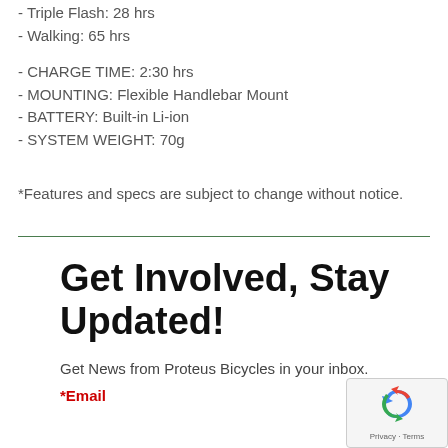- Triple Flash: 28 hrs
- Walking: 65 hrs
- CHARGE TIME: 2:30 hrs
- MOUNTING: Flexible Handlebar Mount
- BATTERY: Built-in Li-ion
- SYSTEM WEIGHT: 70g
*Features and specs are subject to change without notice.
Get Involved, Stay Updated!
Get News from Proteus Bicycles in your inbox.
*Email